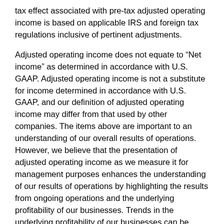tax effect associated with pre-tax adjusted operating income is based on applicable IRS and foreign tax regulations inclusive of pertinent adjustments.
Adjusted operating income does not equate to “Net income” as determined in accordance with U.S. GAAP. Adjusted operating income is not a substitute for income determined in accordance with U.S. GAAP, and our definition of adjusted operating income may differ from that used by other companies. The items above are important to an understanding of our overall results of operations. However, we believe that the presentation of adjusted operating income as we measure it for management purposes enhances the understanding of our results of operations by highlighting the results from ongoing operations and the underlying profitability of our businesses. Trends in the underlying profitability of our businesses can be more clearly identified without the fluctuating effects of the items described above.
Adjusted book value is calculated as total equity (GAAP book value) excluding accumulated other comprehensive income (loss) and the cumulative effect of foreign currency exchange rate remeasurements and currency translation adjustments necessary to arrive at adjusted book value. The...